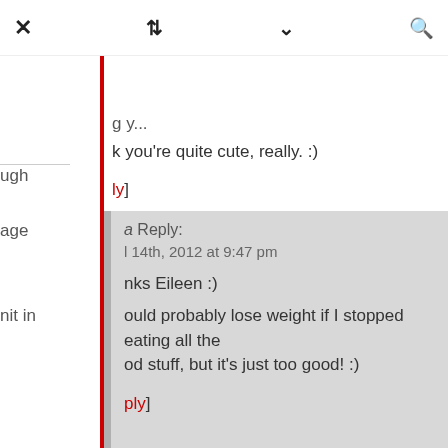[Figure (screenshot): Mobile browser toolbar with X (close), retweet, chevron-down, and search icons]
k you're quite cute, really. :)
[ly]
ugh
age
nit in
a Reply:
l 14th, 2012 at 9:47 pm
nks Eileen :)
ould probably lose weight if I stopped eating all the od stuff, but it's just too good! :)
[ply]